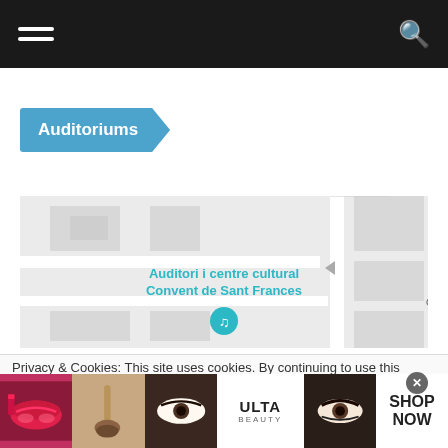Navigation bar with hamburger menu and search icon
Auditoriums
[Figure (map): Street map showing location of Auditori i centre cultural Convent de Sant Frances with a music note pin marker. Street label C. de Camp visible on right side.]
Privacy & Cookies: This site uses cookies. By continuing to use this
[Figure (advertisement): Ulta Beauty advertisement banner showing makeup/beauty images (lips, brush, eyes) with ULTA Beauty logo and SHOP NOW call to action]